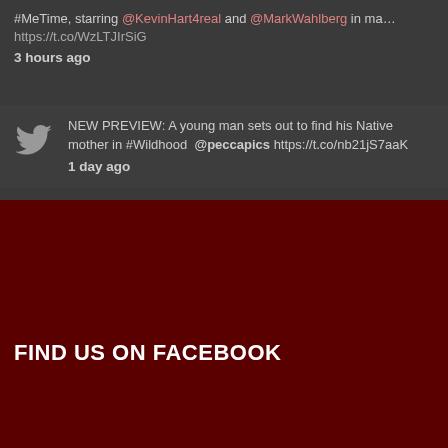#MeTime, starring @KevinHart4real and @MarkWahlberg in ma... https://t.co/WzLTJIrSiG
3 hours ago
NEW PREVIEW: A young man sets out to find his Native mother in #Wildhood @peccapics https://t.co/nb21jS7aaK
1 day ago
FIND US ON FACEBOOK